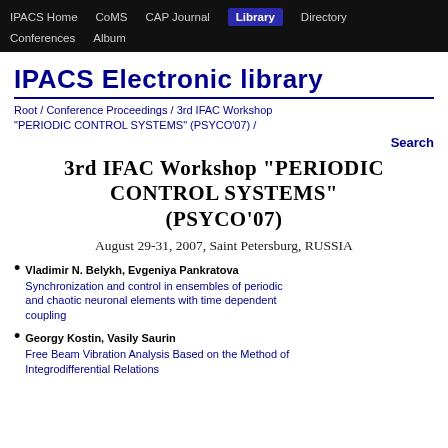IPACS Home | CoMS | CAP Journal | Library | Directory | Conferences | Album
IPACS Electronic library
Root / Conference Proceedings / 3rd IFAC Workshop "PERIODIC CONTROL SYSTEMS" (PSYCO'07) /
Search
3rd IFAC Workshop "PERIODIC CONTROL SYSTEMS" (PSYCO'07)
August 29-31, 2007, Saint Petersburg, RUSSIA
Vladimir N. Belykh, Evgeniya Pankratova
Synchronization and control in ensembles of periodic and chaotic neuronal elements with time dependent coupling
Georgy Kostin, Vasily Saurin
Free Beam Vibration Analysis Based on the Method of Integrodifferential Relations